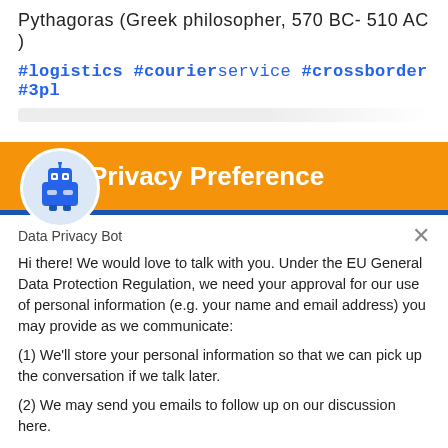Pythagoras (Greek philosopher, 570 BC- 510 AC )
#logistics #courierservice #crossborder #3pl
Privacy Preference
Data Privacy Bot
Hi there! We would love to talk with you. Under the EU General Data Protection Regulation, we need your approval for our use of personal information (e.g. your name and email address) you may provide as we communicate:
(1) We'll store your personal information so that we can pick up the conversation if we talk later.
(2) We may send you emails to follow up on our discussion here.
Yes, I Accept
No, Not Now
Chat ⚡ by Drift